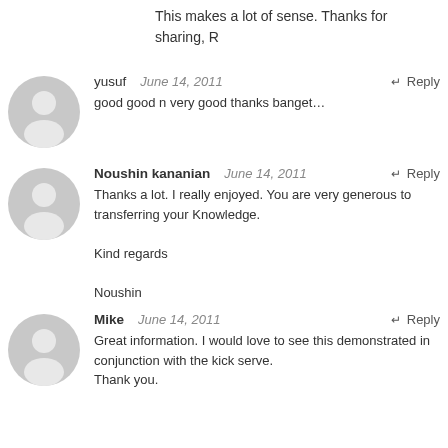This makes a lot of sense. Thanks for sharing, R
[Figure (illustration): Gray avatar placeholder icon (silhouette of a person) in a circle, for user yusuf]
yusuf   June 14, 2011   ← Reply
good good n very good thanks banget...
[Figure (illustration): Gray avatar placeholder icon (silhouette of a person) in a circle, for user Noushin kananian]
Noushin kananian   June 14, 2011   ← Reply
Thanks a lot. I really enjoyed. You are very generous to transferring your Knowledge.

Kind regards

Noushin
[Figure (illustration): Gray avatar placeholder icon (silhouette of a person) in a circle, for user Mike]
Mike   June 14, 2011   ← Reply
Great information. I would love to see this demonstrated in conjunction with the kick serve.
Thank you.